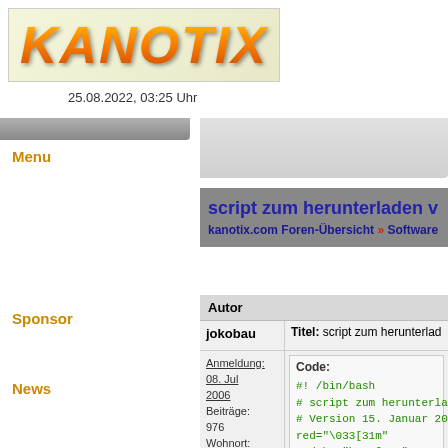[Figure (logo): KANOTIX logo with golden-orange italic bold text on light background]
25.08.2022, 03:25 Uhr
Menu
Sponsor
News
script zum herunterladen v
kanotix.com Foren-Übersicht » Software (de) »
| Autor |  |
| --- | --- |
| jokobau | Titel: script zum herunterladen von acri |
| Anmeldung:
08. Jul 2006
Beiträge: 976
Wohnort: Sömmerda / Thüringen | Code:
#! /bin/bash
# script zum herunterladen
# Version 15. Januar 2014
red="\033[31m"
red_bg="\033[41m"
green="\033[32m" |